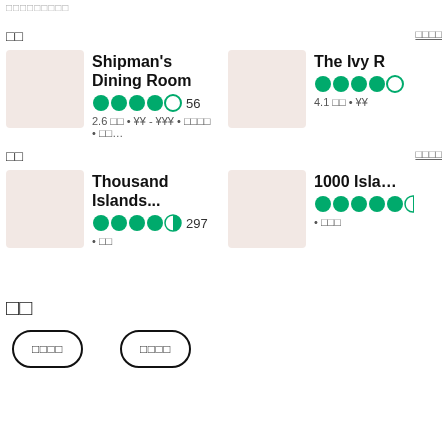□□□□□□□□□
□□
□□□□ (see all)
Shipman's Dining Room
●●●●○ 56
2.6 □□ • ¥¥ - ¥¥¥ • □□□□ • □□...
The Ivy R…
●●●●●○
4.1 □□ • ¥¥
□□
□□□□ (see all)
Thousand Islands...
●●●●◐ 297
• □□
1000 Isla…
●●●●●◑
• □□□
□□
□□□□
□□□□